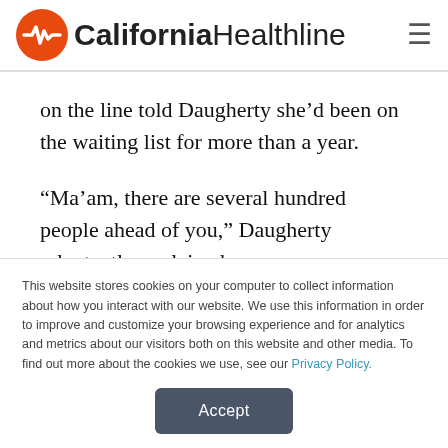California Healthline
on the line told Daugherty she’d been on the waiting list for more than a year.
“Ma’am, there are several hundred people ahead of you,” Daugherty reluctantly explained.
“I just need you all to remember,” came the caller’s
This website stores cookies on your computer to collect information about how you interact with our website. We use this information in order to improve and customize your browsing experience and for analytics and metrics about our visitors both on this website and other media. To find out more about the cookies we use, see our Privacy Policy.
Accept